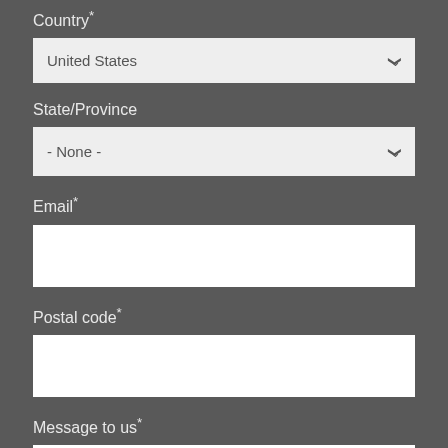Country*
[Figure (screenshot): Dropdown select field showing 'United States' with a chevron icon on the right, light gray background]
State/Province
[Figure (screenshot): Dropdown select field showing '- None -' with a chevron icon on the right, light gray background]
Email*
[Figure (screenshot): Empty white text input field for email]
Postal code*
[Figure (screenshot): Empty white text input field for postal code]
Message to us*
[Figure (screenshot): Partially visible white text area for message input, cut off at bottom of page]